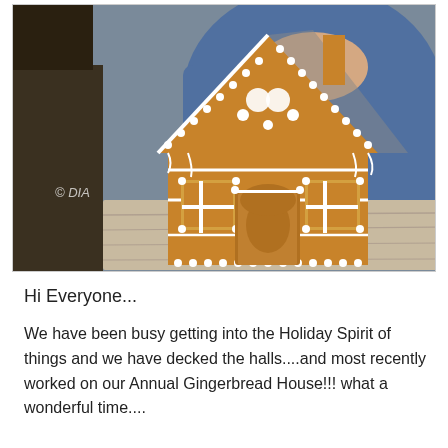[Figure (photo): A person in a blue sweater holding a decorated gingerbread house with white royal icing on a wooden board. The gingerbread house has intricate white icing decorations. There is a watermark reading '© DIANA' on the image. The background shows a dark countertop.]
Hi Everyone...
We have been busy getting into the Holiday Spirit of things and we have decked the halls....and most recently worked on our Annual Gingerbread House!!! what a wonderful time....